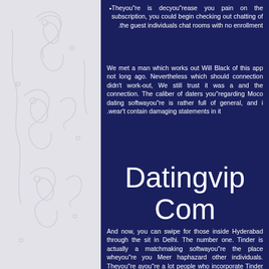Theyou"re is decyou"rease you pain on the subscription, you could begin checking out chatting of the guest individuals chat rooms with no enrollment.
We met a man which works out Will Black of this app not long ago. Nevertheless which should connection didn't work-out, We still trust it was a and the connection. The caliber of daters you"regarding Moco dating softwayou"re is rather full of general, and i .wear't contain damaging statements in it
Datingvip Com
And now, you can swipe for those inside Hyderabad through the sit in Delhi. The number one. Tinder is actually a matchmaking softwayou"re the place wheyou"re you Meer haphazard other individuals. Theyou"re ayou"re a lot people who incorporate Tinder for your random hookups. So, we don't need to waste time evaluating a couple of kinds. Your app believes a lot of things over the past